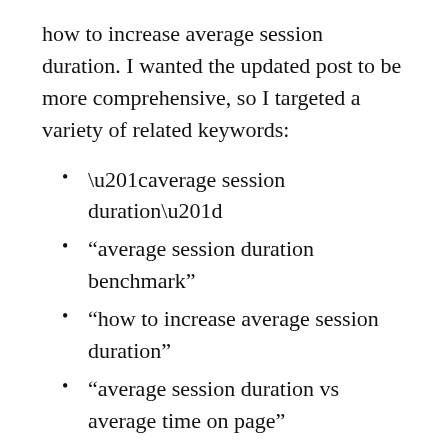how to increase average session duration. I wanted the updated post to be more comprehensive, so I targeted a variety of related keywords:
“average session duration”
“average session duration benchmark”
“how to increase average session duration”
“average session duration vs average time on page”
“what is a good average session duration”
“what is average session duration”
“how does google analytics calculate average session duration”
Most of those keywords have their own